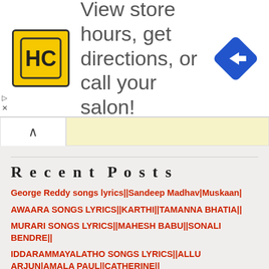[Figure (advertisement): HC salon advertisement banner with yellow logo, text 'View store hours, get directions, or call your salon!' and blue navigation arrow icon]
View store hours, get directions, or call your salon!
Recent Posts
George Reddy songs lyrics||Sandeep Madhav|Muskaan|
AWAARA SONGS LYRICS||KARTHI||TAMANNA BHATIA||
MURARI SONGS LYRICS||MAHESH BABU||SONALI BENDRE||
IDDARAMMAYALATHO SONGS LYRICS||ALLU ARJUN|AMALA PAUL||CATHERINE||
PILLA NUVVU LENI JEEVITHAM SONGS LYRICS||SAI DHARAM TEJ|REJINA CASSANDRA||
KUMARI 21 F||RAJ TARUN|HEBAH PATEL||